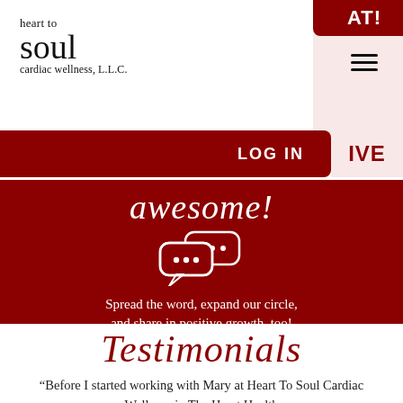[Figure (logo): Heart to Soul Cardiac Wellness LLC logo with script font]
[Figure (screenshot): Navigation bar with LOG IN button and hamburger menu icon]
awesome!
[Figure (illustration): Two chat bubble icons with ellipsis dots]
Spread the word, expand our circle, and share in positive growth, too!
Testimonials
“Before I started working with Mary at Heart To Soul Cardiac Wellness in The Heart Health